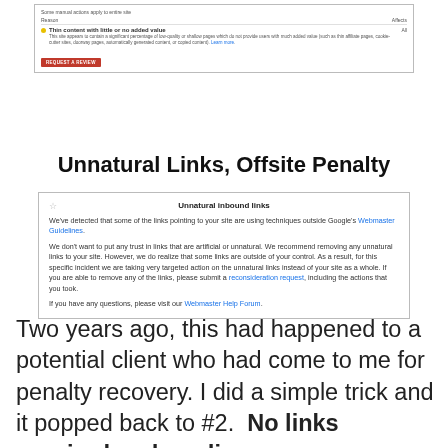[Figure (screenshot): Google Search Console manual action screenshot showing 'Thin content with little or no added value' penalty affecting All pages, with a red REQUEST A REVIEW button]
Unnatural Links, Offsite Penalty
[Figure (screenshot): Google Webmaster Tools message: Unnatural inbound links. Describes detecting links using techniques outside Webmaster Guidelines and recommends removing unnatural links or submitting a reconsideration request.]
Two years ago, this had happened to a potential client who had come to me for penalty recovery. I did a simple trick and it popped back to #2.  No links required and no disavow was needed.  The site